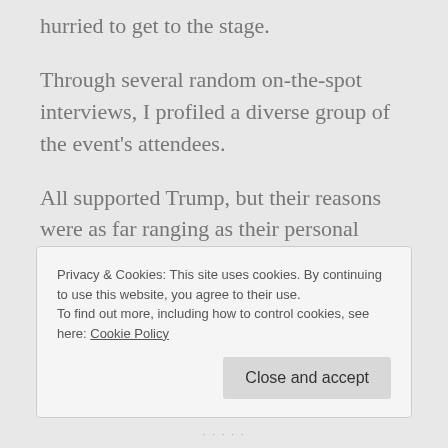hurried to get to the stage.
Through several random on-the-spot interviews, I profiled a diverse group of the event's attendees.
All supported Trump, but their reasons were as far ranging as their personal backgrounds.
Privacy & Cookies: This site uses cookies. By continuing to use this website, you agree to their use.
To find out more, including how to control cookies, see here: Cookie Policy
Close and accept